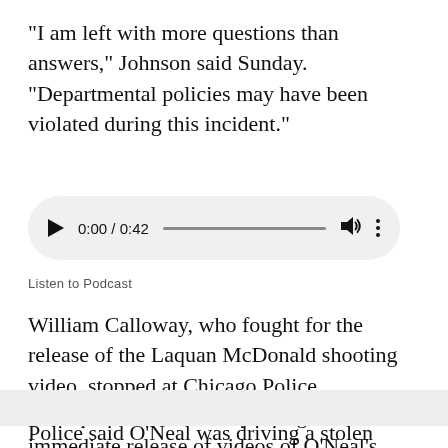"I am left with more questions than answers," Johnson said Sunday. "Departmental policies may have been violated during this incident."
[Figure (other): Audio player widget showing 0:00 / 0:42 with play button, progress bar, volume icon, and more options icon]
Listen to Podcast
William Calloway, who fought for the release of the Laquan McDonald shooting video, stopped at Chicago Police Headquarters on Monday to argue for the immediate release of videos of O'Neal's death.
Police said O'Neal was driving a stolen Jaguar, and